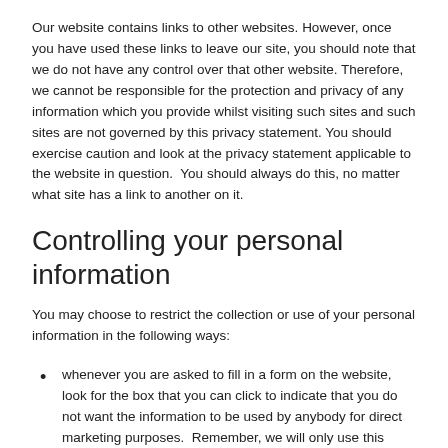Our website contains links to other websites. However, once you have used these links to leave our site, you should note that we do not have any control over that other website. Therefore, we cannot be responsible for the protection and privacy of any information which you provide whilst visiting such sites and such sites are not governed by this privacy statement. You should exercise caution and look at the privacy statement applicable to the website in question.  You should always do this, no matter what site has a link to another on it.
Controlling your personal information
You may choose to restrict the collection or use of your personal information in the following ways:
whenever you are asked to fill in a form on the website, look for the box that you can click to indicate that you do not want the information to be used by anybody for direct marketing purposes.  Remember, we will only use this